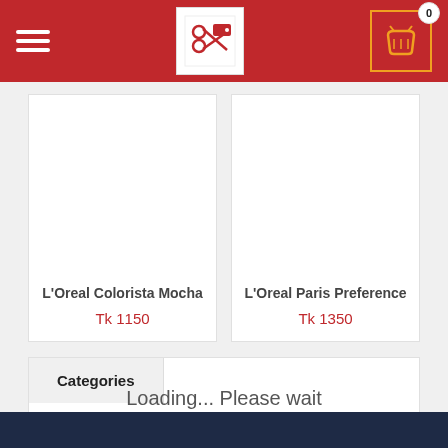Navigation header with hamburger menu, logo, and cart (0 items)
L'Oreal Colorista Mocha
Tk 1150
L'Oreal Paris Preference
Tk 1350
Categories
Loading... Please wait